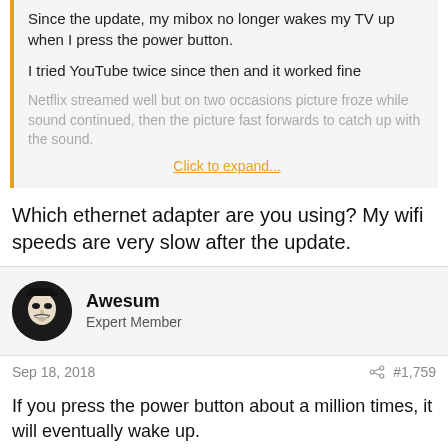Since the update, my mibox no longer wakes my TV up when I press the power button.
I tried YouTube twice since then and it worked fine
Netflix streamed well but on two occasions picture froze while sound continued, then the picture fast forwards to catch up with the sound.
Click to expand...
Which ethernet adapter are you using? My wifi speeds are very slow after the update.
[Figure (photo): Avatar image of user Awesum - a dark avatar with a Guy Fawkes / Anonymous style mask]
Awesum
Expert Member
Sep 18, 2018
#1,759
If you press the power button about a million times, it will eventually wake up.